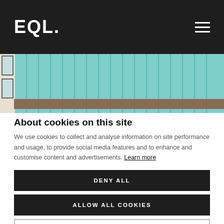EQL.
[Figure (photo): Partial view of a building exterior with teal/mint green vertical cladding panels and windows, with a brown shelf or awning visible at the bottom.]
About cookies on this site
We use cookies to collect and analyse information on site performance and usage, to provide social media features and to enhance and customise content and advertisements. Learn more
DENY ALL
ALLOW ALL COOKIES
COOKIE SETTINGS